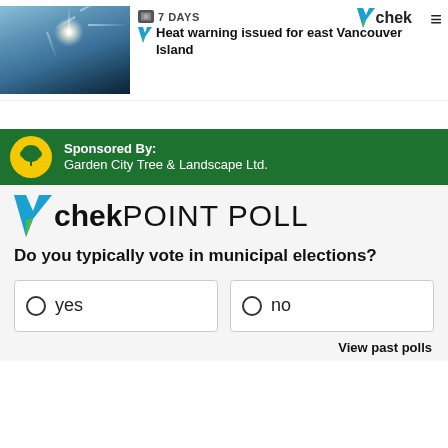[Figure (photo): Bright sun with starburst flare against a blue sky]
7 DAYS
Heat warning issued for east Vancouver Island
Sponsored By: Garden City Tree & Landscape Ltd.
[Figure (logo): CHEK Point Poll logo with blue and green checkmark]
Do you typically vote in municipal elections?
yes
no
View past polls